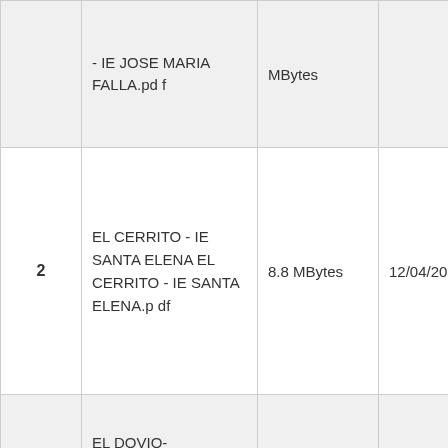| # | Name | Size | Date | Action |
| --- | --- | --- | --- | --- |
|  | - IE JOSE MARIA FALLA.pdf | MBytes |  | download |
| 2 | EL CERRITO - IE SANTA ELENA EL CERRITO - IE SANTA ELENA.pdf | 8.8 MBytes | 12/04/2018 | download |
|  | EL DOVIO- |  |  |  |